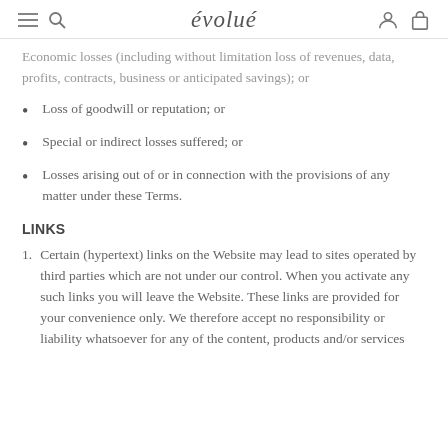évolué
Economic losses (including without limitation loss of revenues, data, profits, contracts, business or anticipated savings); or
Loss of goodwill or reputation; or
Special or indirect losses suffered; or
Losses arising out of or in connection with the provisions of any matter under these Terms.
LINKS
Certain (hypertext) links on the Website may lead to sites operated by third parties which are not under our control. When you activate any such links you will leave the Website. These links are provided for your convenience only. We therefore accept no responsibility or liability whatsoever for any of the content, products and/or services